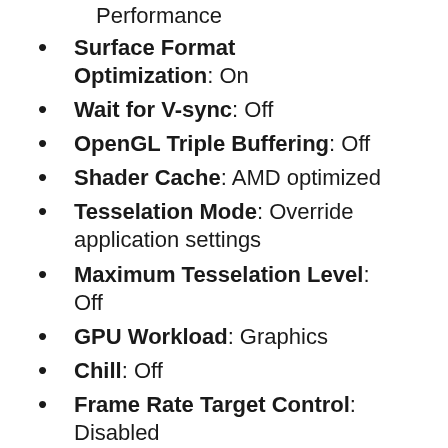Performance
Surface Format Optimization: On
Wait for V-sync: Off
OpenGL Triple Buffering: Off
Shader Cache: AMD optimized
Tesselation Mode: Override application settings
Maximum Tesselation Level: Off
GPU Workload: Graphics
Chill: Off
Frame Rate Target Control: Disabled